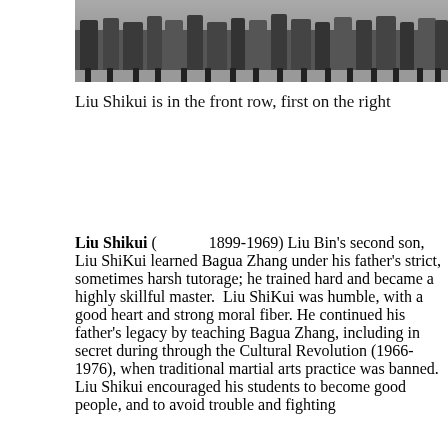[Figure (photo): Black and white photograph of a group of people, partially cropped showing the bottom portion with people standing in a row]
Liu Shikui is in the front row, first on the right
Liu Shikui ( [Chinese characters] 1899-1969) Liu Bin’s second son, Liu ShiKui learned Bagua Zhang under his father’s strict, sometimes harsh tutorage; he trained hard and became a highly skillful master.  Liu ShiKui was humble, with a good heart and strong moral fiber. He continued his father’s legacy by teaching Bagua Zhang, including in secret during through the Cultural Revolution (1966-1976), when traditional martial arts practice was banned. Liu Shikui encouraged his students to become good people, and to avoid trouble and fighting